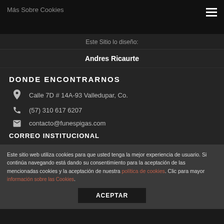Más Sobre Cookies
Este Sitio lo diseño:
Andres Ricaurte
DONDE ENCONTRARNOS
Calle 7D # 14A-93 Valledupar, Co.
(57) 310 617 6207
contacto@funespigas.com
CORREO INSTITUCIONAL
Este sitio web utiliza cookies para que usted tenga la mejor experiencia de usuario. Si continúa navegando está dando su consentimiento para la aceptación de las mencionadas cookies y la aceptación de nuestra política de cookies. Clic para mayor información sobre las Cookies.
ACEPTAR